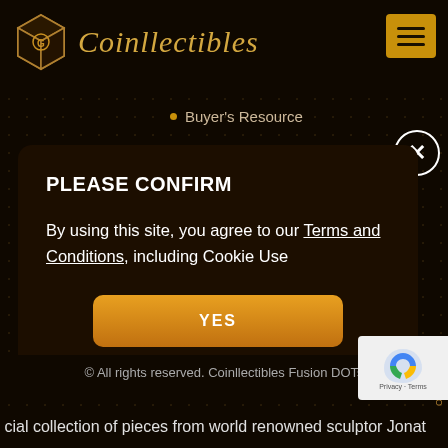[Figure (logo): Coinllectibles logo with geometric cube icon and script font text]
Buyer's Resource
PLEASE CONFIRM
By using this site, you agree to our Terms and Conditions, including Cookie Use
YES
© All rights reserved. Coinllectibles Fusion DOTs
cial collection of pieces from world renowned sculptor Jonat